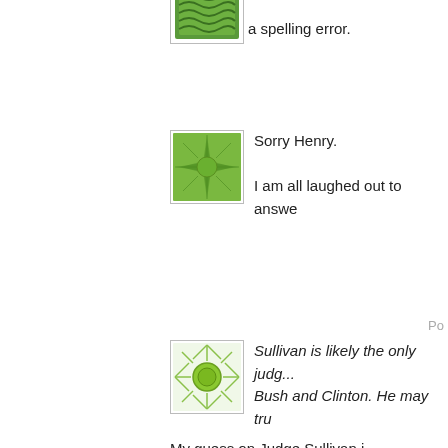a spelling error.
[Figure (illustration): Green geometric sun/starburst avatar icon]
Sorry Henry.

I am all laughed out to answe
Po
[Figure (illustration): Green radiant sun avatar icon on white background]
Sullivan is likely the only judg... Bush and Clinton. He may tru
My guess on Judge Sullivan i... up there that aren't corrupt bu... take it for granted that when h... Courtroom they are going to a...

It seems to me that after he g... case by the Prosecutors pulli... incensed and personally emb... Sundance/Daily Caller links t... on 302's previously. With that... now so personally pissed off... completely overrides his 'libe